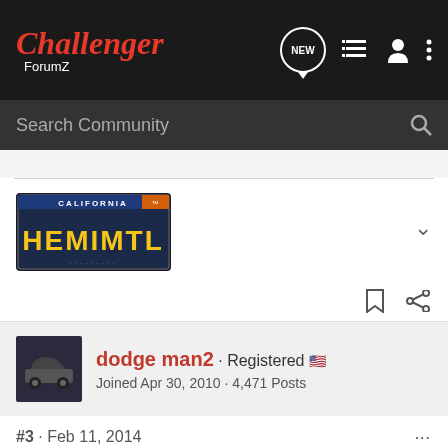Challenger ForumZ
Search Community
[Figure (other): California license plate reading HEMIMTL]
dodge man2 · Registered
Joined Apr 30, 2010 · 4,471 Posts
#3 · Feb 11, 2014
My 2010 has push button start. The newer cars have the true keyless entery, where you don't even have to use the key other than to have it in your pocket.